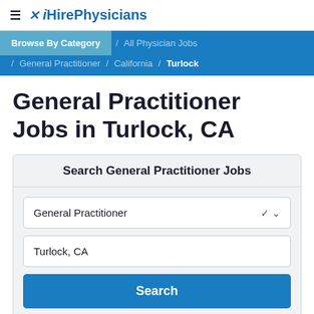≡ iHirePhysicians
Browse By Category / All Physician Jobs / General Practitioner / California / Turlock
General Practitioner Jobs in Turlock, CA
Search General Practitioner Jobs
General Practitioner
Turlock, CA
Search